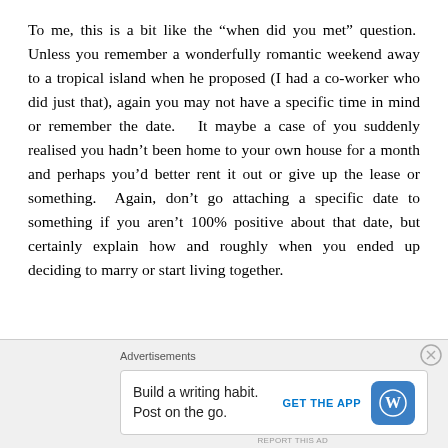To me, this is a bit like the “when did you met” question.  Unless you remember a wonderfully romantic weekend away to a tropical island when he proposed (I had a co-worker who did just that), again you may not have a specific time in mind or remember the date.   It maybe a case of you suddenly realised you hadn’t been home to your own house for a month and perhaps you’d better rent it out or give up the lease or something.  Again, don’t go attaching a specific date to something if you aren’t 100% positive about that date, but certainly explain how and roughly when you ended up deciding to marry or start living together.
Advertisements
Build a writing habit. Post on the go.
GET THE APP